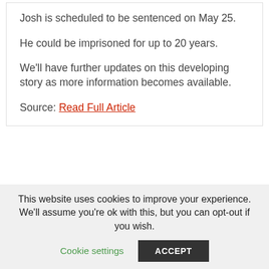Josh is scheduled to be sentenced on May 25.
He could be imprisoned for up to 20 years.
We'll have further updates on this developing story as more information becomes available.
Source: Read Full Article
« 9-1-1 RENEWED FOR SEASON 6 AT FOX
TIME FOR A DEEP DIVE ON MEGAN THEE STALLION'S BOYFRIEND, PARDISON FONTAINE
This website uses cookies to improve your experience. We'll assume you're ok with this, but you can opt-out if you wish.
Cookie settings   ACCEPT